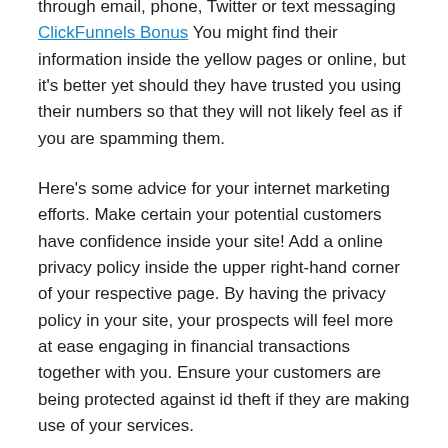through email, phone, Twitter or text messaging ClickFunnels Bonus You might find their information inside the yellow pages or online, but it's better yet should they have trusted you using their numbers so that they will not likely feel as if you are spamming them.
Here's some advice for your internet marketing efforts. Make certain your potential customers have confidence inside your site! Add a online privacy policy inside the upper right-hand corner of your respective page. By having the privacy policy in your site, your prospects will feel more at ease engaging in financial transactions together with you. Ensure your customers are being protected against id theft if they are making use of your services.